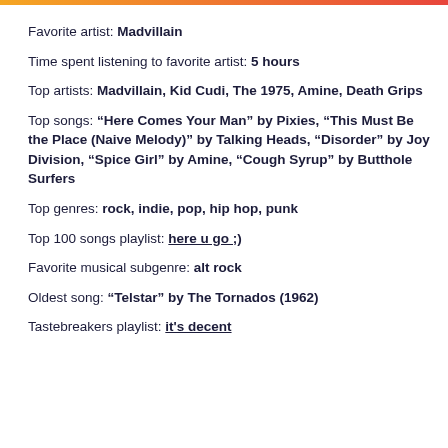Favorite artist: Madvillain
Time spent listening to favorite artist: 5 hours
Top artists: Madvillain, Kid Cudi, The 1975, Amine, Death Grips
Top songs: “Here Comes Your Man” by Pixies, “This Must Be the Place (Naive Melody)” by Talking Heads, “Disorder” by Joy Division, “Spice Girl” by Amine, “Cough Syrup” by Butthole Surfers
Top genres: rock, indie, pop, hip hop, punk
Top 100 songs playlist: here u go ;)
Favorite musical subgenre: alt rock
Oldest song: “Telstar” by The Tornados (1962)
Tastebreakers playlist: it's decent